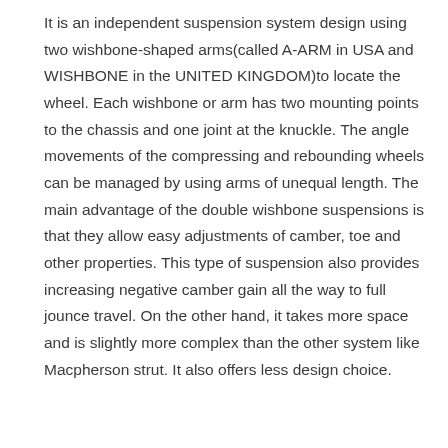It is an independent suspension system design using two wishbone-shaped arms(called A-ARM in USA and WISHBONE in the UNITED KINGDOM)to locate the wheel. Each wishbone or arm has two mounting points to the chassis and one joint at the knuckle. The angle movements of the compressing and rebounding wheels can be managed by using arms of unequal length. The main advantage of the double wishbone suspensions is that they allow easy adjustments of camber, toe and other properties. This type of suspension also provides increasing negative camber gain all the way to full jounce travel. On the other hand, it takes more space and is slightly more complex than the other system like Macpherson strut. It also offers less design choice.